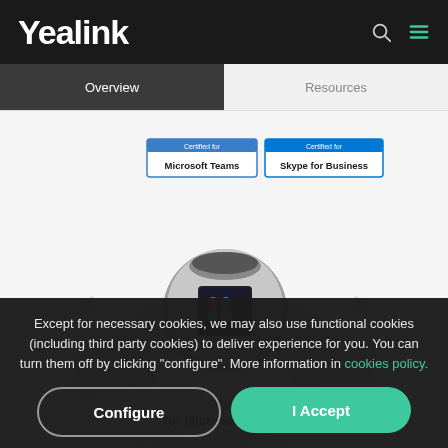Yealink
Overview
Resources
[Figure (photo): Yealink CP960 conference phone for Microsoft Teams, shown with two wireless expansion microphones. Certified for Microsoft Teams and Skype for Business badges shown above the device.]
CP960
for Microsoft Teams
Conference phone
for huddle rooms &
large-sized meeting rooms
Except for necessary cookies, we may also use functional cookies (including third party cookies) to deliver experience for you. You can turn them off by clicking "configure". More information in cookies policy.